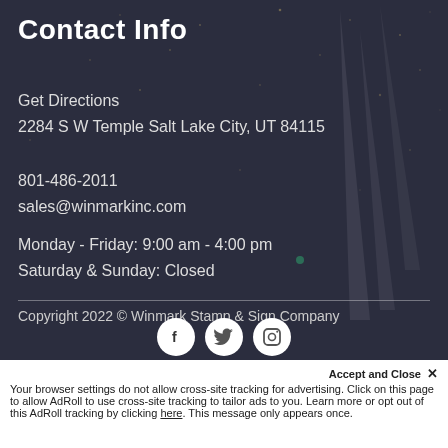Contact Info
Get Directions
2284 S W Temple Salt Lake City, UT 84115
801-486-2011
sales@winmarkinc.com
Monday - Friday: 9:00 am - 4:00 pm
Saturday & Sunday: Closed
Copyright 2022 © Winmark Stamp & Sign Company
[Figure (illustration): Three white circular social media icons: Facebook (f), Twitter (bird), Instagram (camera outline)]
Accept and Close ✕
Your browser settings do not allow cross-site tracking for advertising. Click on this page to allow AdRoll to use cross-site tracking to tailor ads to you. Learn more or opt out of this AdRoll tracking by clicking here. This message only appears once.